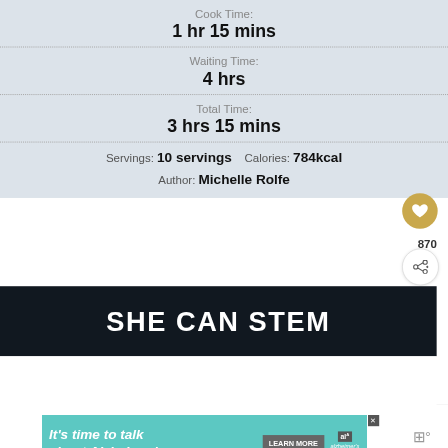Cook Time: 1 hr 15 mins
Waiting Time: 4 hrs
Total Time: 3 hrs 15 mins
Servings: 10 servings    Calories: 784kcal
Author: Michelle Rolfe
[Figure (screenshot): SHE CAN STEM dark banner advertisement]
870
WHAT'S NEXT → easy lemon tiramisu wit...
[Figure (infographic): Alzheimer's Association advertisement: It's time to talk about Alzheimer's. LEARN MORE]